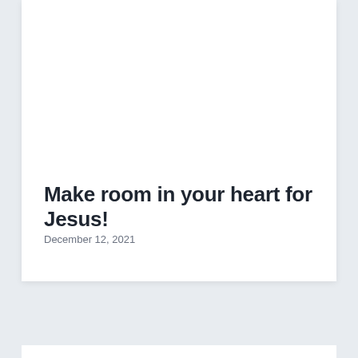Make room in your heart for Jesus!
December 12, 2021